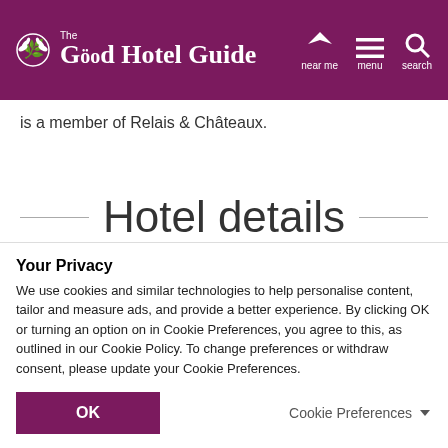The Good Hotel Guide — near me | menu | search
is a member of Relais & Châteaux.
Hotel details
Address
Your Privacy
We use cookies and similar technologies to help personalise content, tailor and measure ads, and provide a better experience. By clicking OK or turning an option on in Cookie Preferences, you agree to this, as outlined in our Cookie Policy. To change preferences or withdraw consent, please update your Cookie Preferences.
OK
Cookie Preferences